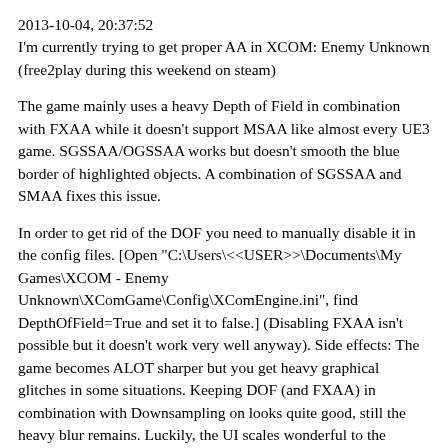2013-10-04, 20:37:52
I'm currently trying to get proper AA in XCOM: Enemy Unknown (free2play during this weekend on steam)
The game mainly uses a heavy Depth of Field in combination with FXAA while it doesn't support MSAA like almost every UE3 game. SGSSAA/OGSSAA works but doesn't smooth the blue border of highlighted objects. A combination of SGSSAA and SMAA fixes this issue.
In order to get rid of the DOF you need to manually disable it in the config files. [Open "C:\Users\<<USER>>\Documents\My Games\XCOM - Enemy Unknown\XComGame\Config\XComEngine.ini", find DepthOfField=True and set it to false.] (Disabling FXAA isn't possible but it doesn't work very well anyway). Side effects: The game becomes ALOT sharper but you get heavy graphical glitches in some situations. Keeping DOF (and FXAA) in combination with Downsampling on looks quite good, still the heavy blur remains. Luckily, the UI scales wonderful to the different resolutions and the fonts remain readable.
SSAA seems to work by using the "0x08000041" flag, below are a few comparisons. (C1-flag increases the graphical glitches)